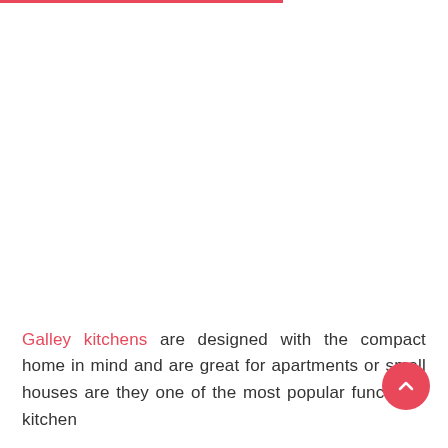Galley kitchens are designed with the compact home in mind and are great for apartments or small houses are they one of the most popular functional kitchen